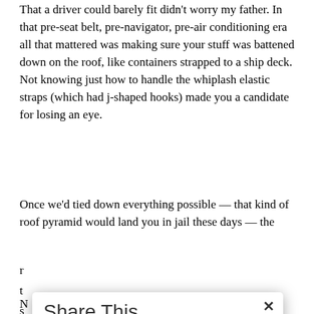That a driver could barely fit didn't worry my father. In that pre-seat belt, pre-navigator, pre-air conditioning era all that mattered was making sure your stuff was battened down on the roof, like containers strapped to a ship deck. Not knowing just how to handle the whiplash elastic straps (which had j-shaped hooks) made you a candidate for losing an eye.
Once we'd tied down everything possible — that kind of roof pyramid would land you in jail these days — the r... t... s...
[Figure (screenshot): Share This modal overlay with title 'Share This', subtitle 'Share this post with your friends!', a close (x) button, and three share buttons: Facebook (blue), Twitter (light blue), and Print Friendly (green).]